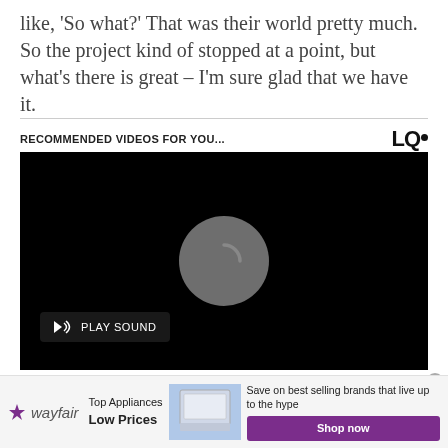like, ‘So what?’ That was their world pretty much. So the project kind of stopped at a point, but what’s there is great – I’m sure glad that we have it.
RECOMMENDED VIDEOS FOR YOU...
[Figure (screenshot): Black video player with a grey circular loading spinner in the center and a 'PLAY SOUND' button with speaker icon in the lower left]
[Figure (infographic): Wayfair advertisement: 'Top Appliances Low Prices' with a stove image and 'Save on best selling brands that live up to the hype' with a purple 'Shop now' button]